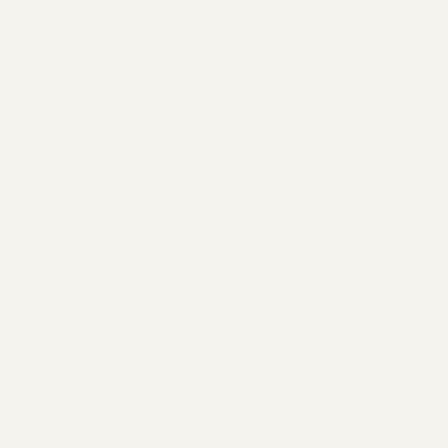Posted by Unknown at ...
Labels: Estate Planning
Probate in Flori...
[Figure (photo): Decorative calligraphic script reading 'Last Will and Testament' in Gothic blackletter style on parchment-like background]
and summary administrat...
There is also a non-court ... This type of administratio...
2. WHAT ARE PROBA...